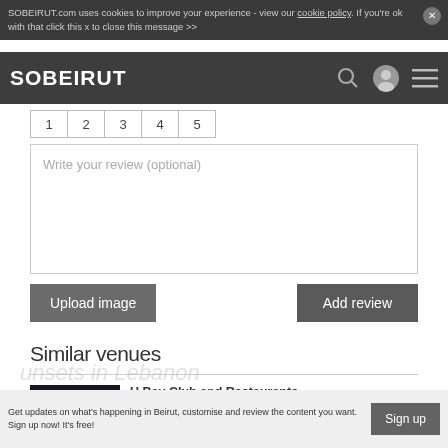SOBEIRUT.com uses cookies to improve your experience - view our cookie policy. If you're ok with that click this x to close this message >>
[Figure (logo): SOBEIRUT site logo and navigation icons on dark header bar]
1 2 3 4 5
Write your review (optional)
Upload image
Add review
Similar venues
U Bay Club and Restaurants
Table Fine, Le Rooftop, Jap: A Combination for a Perfect Evening
Get updates on what's happening in Beirut, customise and review the content you want.
Sign up now! It's free!